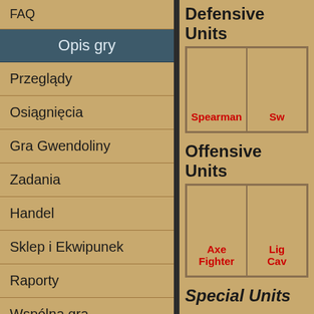FAQ
Opis gry
Przeglądy
Osiągnięcia
Gra Gwendoliny
Zadania
Handel
Sklep i Ekwipunek
Raporty
Wspólna gra
Światy
Punkty Zwycięstwa
Premium
Defensive Units
[Figure (other): Grid showing unit cards: Spearman and Swordsman (partially visible)]
Offensive Units
[Figure (other): Grid showing unit cards: Axe Fighter and Light Cavalry (partially visible)]
Special Units